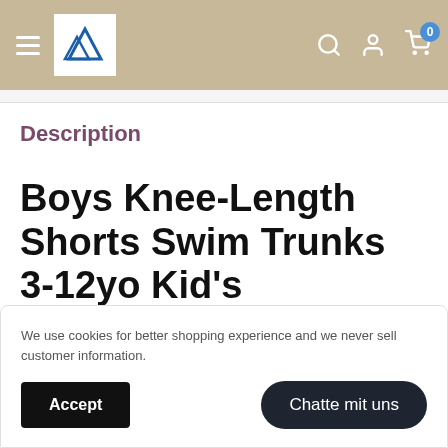[Figure (screenshot): E-commerce website navigation bar with hamburger menu, logo with two mountain peaks, search icon, user account icon, and cart icon with badge showing 0]
Description
Boys Knee-Length Shorts Swim Trunks 3-12yo Kid's Swimwear
We use cookies for better shopping experience and we never sell customer information.
Accept
Chatte mit uns